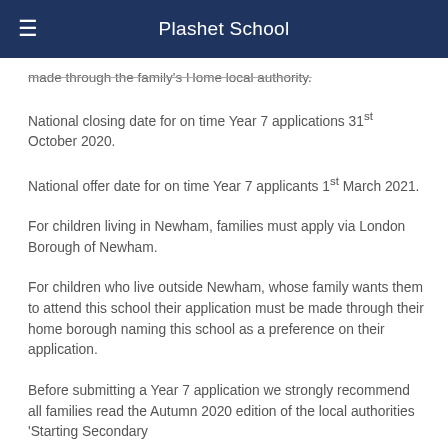Plashet School
made through the family's Home local authority.
National closing date for on time Year 7 applications 31st October 2020.
National offer date for on time Year 7 applicants 1st March 2021.
For children living in Newham, families must apply via London Borough of Newham.
For children who live outside Newham, whose family wants them to attend this school their application must be made through their home borough naming this school as a preference on their application.
Before submitting a Year 7 application we strongly recommend all families read the Autumn 2020 edition of the local authorities 'Starting Secondary